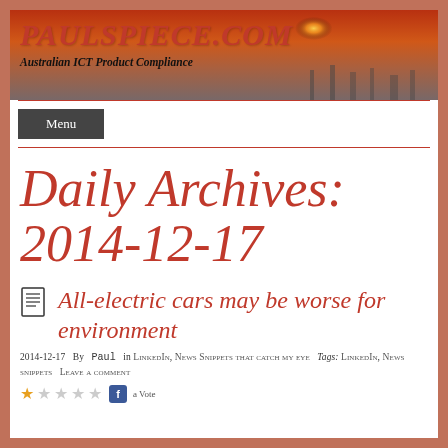[Figure (photo): Website header banner with sunset/industrial skyline background, showing site title PAULSPIECE.COM and subtitle 'Australian ICT Product Compliance']
PAULSPIECE.COM
Australian ICT Product Compliance
Menu
Daily Archives: 2014-12-17
All-electric cars may be worse for environment
2014-12-17  By  Paul  in LinkedIn, News Snippets that catch my eye  Tags: LinkedIn, News snippets  Leave a comment